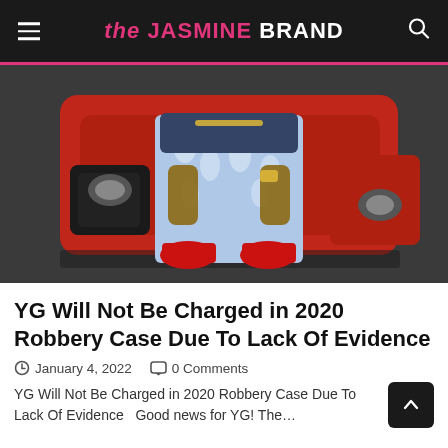the JASMINE BRAND
[Figure (photo): Person sitting on a red Lamborghini wearing ripped light blue jeans, red boots, and jewelry, with visible tattoos on arms and hands.]
YG Will Not Be Charged in 2020 Robbery Case Due To Lack Of Evidence
January 4, 2022   0 Comments
YG Will Not Be Charged in 2020 Robbery Case Due To Lack Of Evidence   Good news for YG! The...